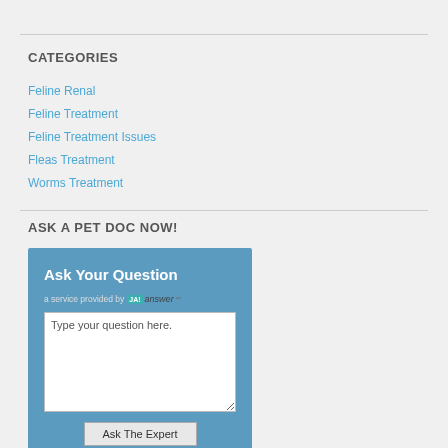CATEGORIES
Feline Renal
Feline Treatment
Feline Treatment Issues
Fleas Treatment
Worms Treatment
ASK A PET DOC NOW!
[Figure (screenshot): Ask Your Question widget with text area and Ask The Expert button, a service provided by JustAnswer]